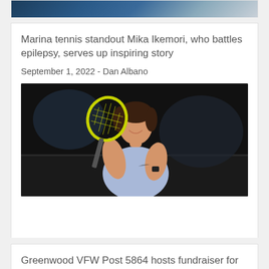[Figure (photo): Top portion of an image card showing a dark blue artistic/sports photo, partially cropped at the top of the page]
Marina tennis standout Mika Ikemori, who battles epilepsy, serves up inspiring story
September 1, 2022 - Dan Albano
[Figure (photo): Photo of a young woman in a light blue Nike tennis outfit holding a yellow racket, smiling, on a tennis court at night]
Greenwood VFW Post 5864 hosts fundraiser for teen with epilepsy
September 1, 2022 - Southside Times